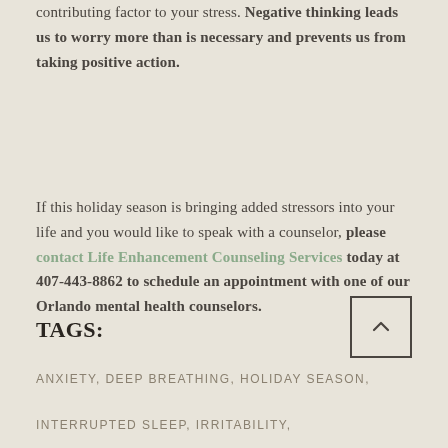contributing factor to your stress. Negative thinking leads us to worry more than is necessary and prevents us from taking positive action.
If this holiday season is bringing added stressors into your life and you would like to speak with a counselor, please contact Life Enhancement Counseling Services today at 407-443-8862 to schedule an appointment with one of our Orlando mental health counselors.
TAGS:
ANXIETY, DEEP BREATHING, HOLIDAY SEASON,
INTERRUPTED SLEEP, IRRITABILITY,